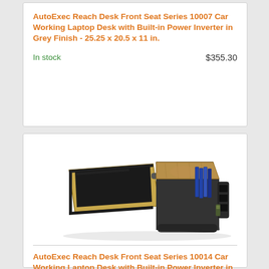AutoExec Reach Desk Front Seat Series 10007 Car Working Laptop Desk with Built-in Power Inverter in Grey Finish - 25.25 x 20.5 x 11 in.
In stock
$355.30
[Figure (photo): Product photo of AutoExec Reach Desk - open box style car desk with wooden birch/maple top surface and black base, showing file organizer slots on the right side with blue folders, and a separate padded mouse pad tray on the left with gold/maple trim]
AutoExec Reach Desk Front Seat Series 10014 Car Working Laptop Desk with Built-in Power Inverter in Birch Finish - 25.25 x 20.5 x 11 in.